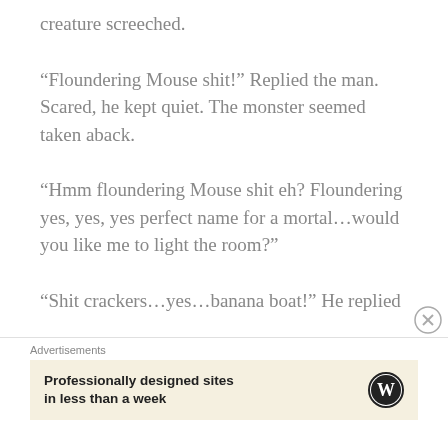creature screeched.
“Floundering Mouse shit!” Replied the man. Scared, he kept quiet. The monster seemed taken aback.
“Hmm floundering Mouse shit eh? Floundering yes, yes, yes perfect name for a mortal…would you like me to light the room?”
“Shit crackers…yes…banana boat!” He replied
Advertisements
Professionally designed sites in less than a week